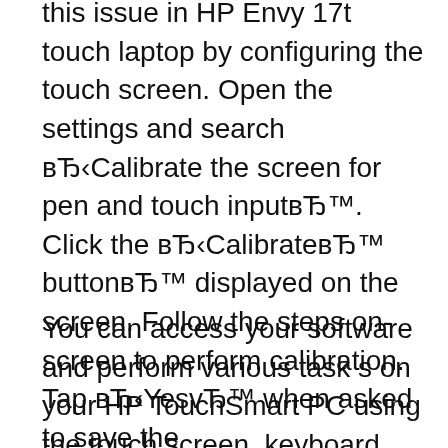this issue in HP Envy 17t touch laptop by configuring the touch screen. Open the settings and search вЂ‹Calibrate the screen for pen and touch inputвЂ™. Click the вЂ‹CalibrateвЂ™ buttonвЂ™ displayed on the screen. Follow the steps on-screen to perform calibration. Tap вЂ‹YesvЂ™ when asked to save the
You can access your software and perform various task s on your HP TouchSmart PC using the touch screen, keyboard, mouse, stylus, or remote control. Some tasks are better suited to the touch screen, such as using the HP SmartCenter programs, browsing вЂ¦ Get the best deal for Laptop